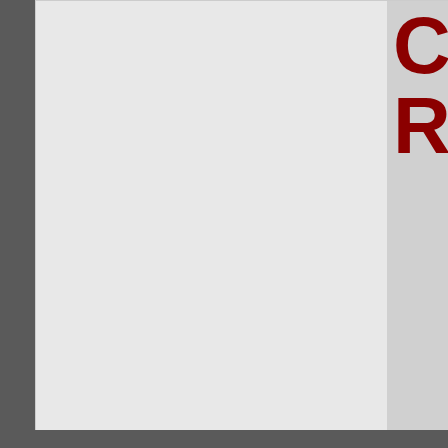[Figure (screenshot): Top banner area with light gray background and partial logo showing letters C and R in dark red on the right side]
Forum News
| Forum |
| --- |
| Accrington Forum News
Read about the latest happenings on our site.
Threads: 129, Posts: 2,722 |
| Feedback, Suggestions and help! (2 Viewing)
Do you need any help with the forum? Do you like what you see? Do y
Any problems please report here as well.
Threads: 754, Posts: 11,411
Sub-Forums: Test Forum |